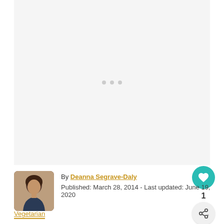[Figure (photo): Large image area with loading placeholder dots, light gray background]
[Figure (photo): Author headshot photo of Deanna Segrave-Daly, a woman with dark hair]
By Deanna Segrave-Daly
Published: March 28, 2014 - Last updated: June 19, 2020
Vegetarian